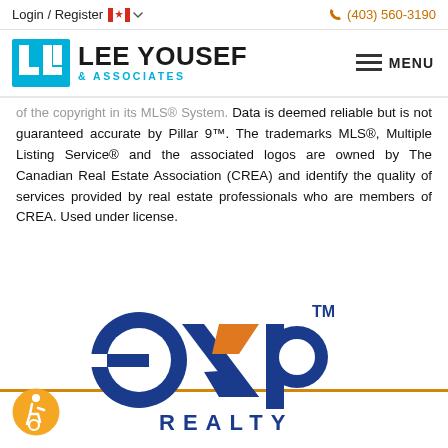Login / Register  🍁  (403) 560-3190
[Figure (logo): Lee Yousef & Associates logo with blue LU icon and text]
of the copyright in its MLS® System. Data is deemed reliable but is not guaranteed accurate by Pillar 9™. The trademarks MLS®, Multiple Listing Service® and the associated logos are owned by The Canadian Real Estate Association (CREA) and identify the quality of services provided by real estate professionals who are members of CREA. Used under license.
[Figure (logo): eXp Realty logo in blue and orange with TM mark]